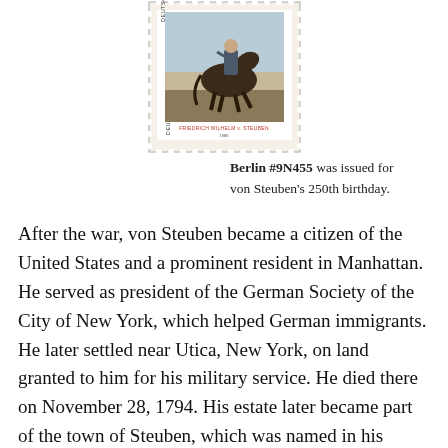[Figure (illustration): A German postage stamp (Deutsche Bundespost Berlin #9N455) depicting Friedrich Wilhelm von Steuben on horseback, with text 'FRIEDRICH WILHELM v. STEUBEN' at the bottom.]
Berlin #9N455 was issued for von Steuben's 250th birthday.
After the war, von Steuben became a citizen of the United States and a prominent resident in Manhattan.  He served as president of the German Society of the City of New York, which helped German immigrants.  He later settled near Utica, New York, on land granted to him for his military service.  He died there on November 28, 1794.  His estate later became part of the town of Steuben, which was named in his honor.  A number of counties, cities, buildings, and ships have